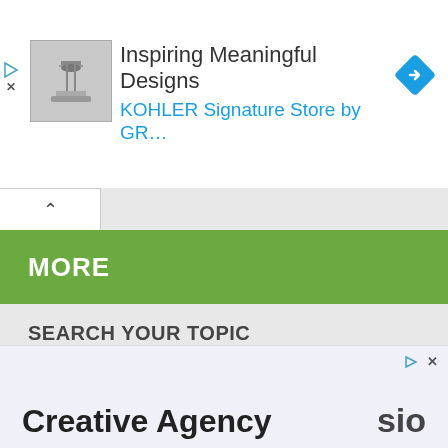[Figure (screenshot): Advertisement banner with bathroom image thumbnail, text 'Inspiring Meaningful Designs' and 'KOHLER Signature Store by GR...' in blue, and a blue diamond navigation icon on the right.]
[Figure (screenshot): Browser tab row with an upward chevron tab indicator on white background.]
MORE
SEARCH YOUR TOPIC
[Figure (screenshot): Search input box with placeholder text 'Search ...' and a blue 'Search' button.]
[Figure (screenshot): Bottom advertisement banner showing 'Creative Agency' text partially visible on a light purple background, with play/close controls in top right corner.]